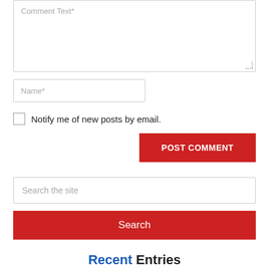[Figure (screenshot): Comment text textarea form field with placeholder text 'Comment Text*']
[Figure (screenshot): Name input field with placeholder text 'Name*']
Notify me of new posts by email.
[Figure (screenshot): POST COMMENT button in red]
[Figure (screenshot): Search the site input field]
[Figure (screenshot): Search button in red]
Recent Entries